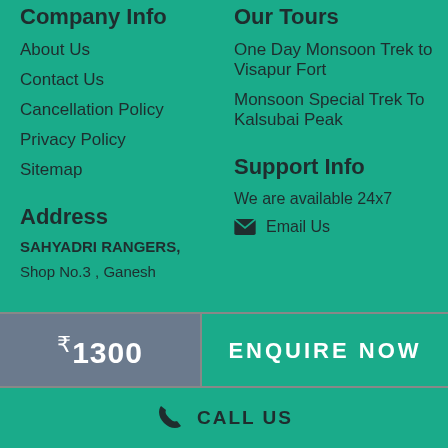Company Info
About Us
Contact Us
Cancellation Policy
Privacy Policy
Sitemap
Our Tours
One Day Monsoon Trek to Visapur Fort
Monsoon Special Trek To Kalsubai Peak
Address
SAHYADRI RANGERS,
Shop No.3 , Ganesh
Support Info
We are available 24x7
Email Us
₹1300
ENQUIRE NOW
CALL US